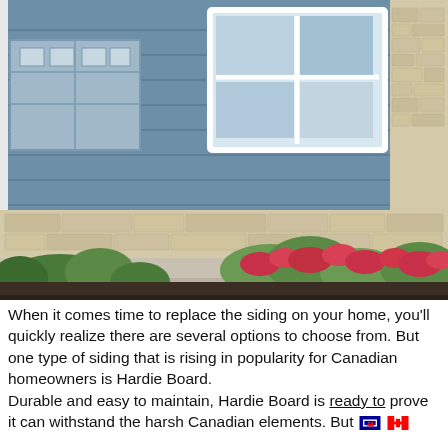[Figure (photo): Exterior photo of a house with blue fiber cement board siding, white-trimmed windows, stone veneer foundation, and a landscaped garden bed with red flowers and green shrubs in the foreground.]
When it comes time to replace the siding on your home, you'll quickly realize there are several options to choose from. But one type of siding that is rising in popularity for Canadian homeowners is Hardie Board.
Durable and easy to maintain, Hardie Board is ready to prove it can withstand the harsh Canadian elements. But